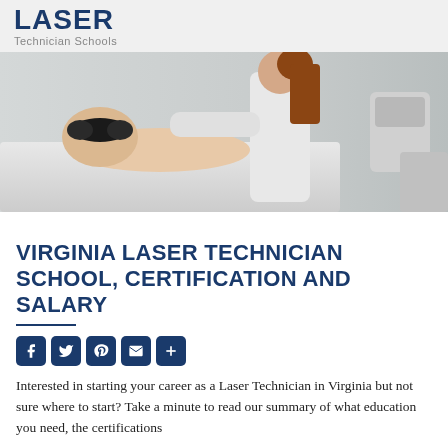LASER Technician Schools
[Figure (photo): A laser technician in white coat performing a facial laser treatment on a patient wearing protective goggles, lying on a treatment bed in a clinical setting.]
VIRGINIA LASER TECHNICIAN SCHOOL, CERTIFICATION AND SALARY
[Figure (infographic): Social sharing buttons: Facebook, Twitter, Pinterest, Email, Share More]
Interested in starting your career as a Laser Technician in Virginia but not sure where to start? Take a minute to read our summary of what education you need, the certifications